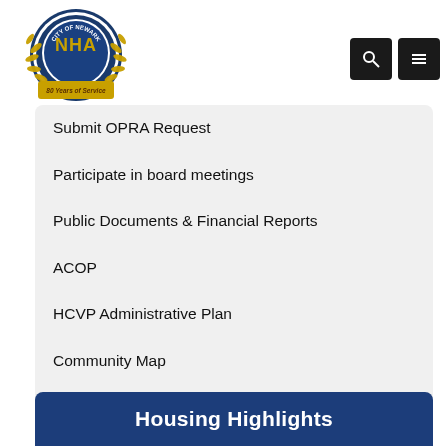[Figure (logo): NHA Newark Housing Authority logo - circular badge with laurel wreath, gold lettering, blue background, '80 Years of Service' ribbon]
Submit OPRA Request
Participate in board meetings
Public Documents & Financial Reports
ACOP
HCVP Administrative Plan
Community Map
Report a Concern
Housing Highlights